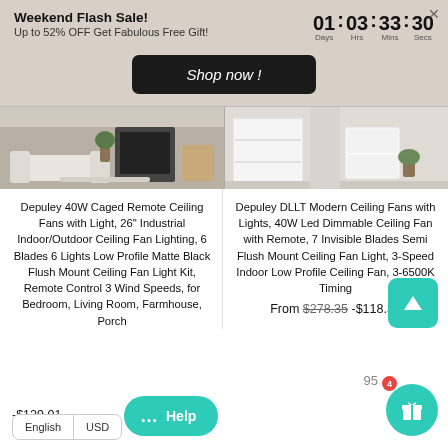Weekend Flash Sale! Up to 52% OFF Get Fabulous Free Gift! 01 : 03 : 33 : 30 Days Hrs Mins Secs
Shop now !
[Figure (photo): Two product listing photos side by side: left shows a modern living room interior, right shows a white shelving unit against a neutral wall]
Depuley 40W Caged Remote Ceiling Fans with Light, 26" Industrial Indoor/Outdoor Ceiling Fan Lighting, 6 Blades 6 Lights Low Profile Matte Black Flush Mount Ceiling Fan Light Kit, Remote Control 3 Wind Speeds, for Bedroom, Living Room, Farmhouse, Porch
Depuley DLLT Modern Ceiling Fans with Lights, 40W Led Dimmable Ceiling Fan with Remote, 7 Invisible Blades Semi Flush Mount Ceiling Fan Light, 3-Speed Indoor Low Profile Ceiling Fan, 3-6500K Timing
From $278.35 -$118.36
-$129.01
English | USD